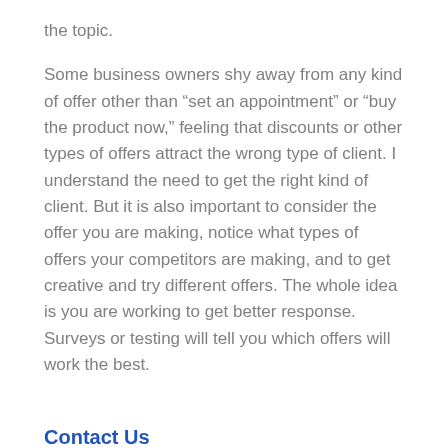the topic.
Some business owners shy away from any kind of offer other than “set an appointment” or “buy the product now,” feeling that discounts or other types of offers attract the wrong type of client. I understand the need to get the right kind of client. But it is also important to consider the offer you are making, notice what types of offers your competitors are making, and to get creative and try different offers. The whole idea is you are working to get better response. Surveys or testing will tell you which offers will work the best.
Contact Us